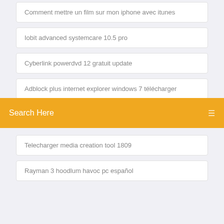Comment mettre un film sur mon iphone avec itunes
Iobit advanced systemcare 10.5 pro
Cyberlink powerdvd 12 gratuit update
Adblock plus internet explorer windows 7 télécharger
Search Here
Telecharger media creation tool 1809
Rayman 3 hoodlum havoc pc español